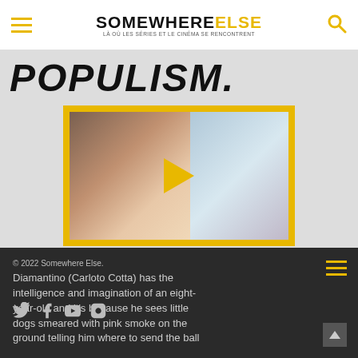SOMEWHERE ELSE — Là où les séries et le cinéma se rencontrent
POPULISM.
[Figure (screenshot): Video thumbnail with yellow border showing two people lying in bed, a man in foreground looking at camera and a person in background, with a yellow play button overlay in the center]
© 2022 Somewhere Else. Diamantino (Carloto Cotta) has the intelligence and imagination of an eight-year-old and it's because he sees little dogs smeared with pink smoke on the ground telling him where to send the ball